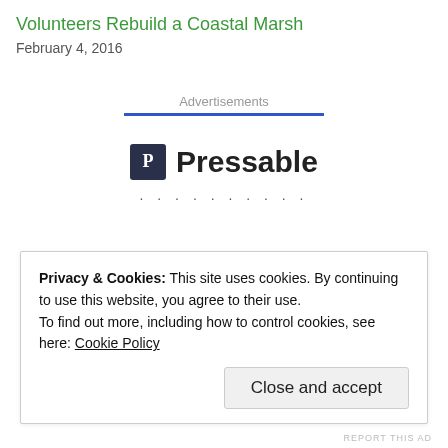Volunteers Rebuild a Coastal Marsh
February 4, 2016
Advertisements
[Figure (logo): Pressable logo with dark square P icon and bold Pressable text]
Privacy & Cookies: This site uses cookies. By continuing to use this website, you agree to their use.
To find out more, including how to control cookies, see here: Cookie Policy
Close and accept